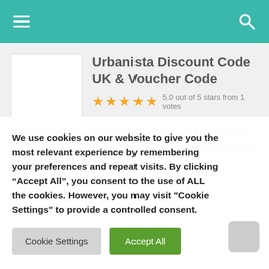Navigation header with hamburger menu and search icon
Urbanista Discount Code UK & Voucher Code
5.0 out of 5 stars from 1 votes
Save up to 50% and more with discount code for Urbanista UK listed at VoucherButler. Here you will find all voucher code for Urbanista UK, deals and offers.
We use cookies on our website to give you the most relevant experience by remembering your preferences and repeat visits. By clicking "Accept All", you consent to the use of ALL the cookies. However, you may visit "Cookie Settings" to provide a controlled consent.